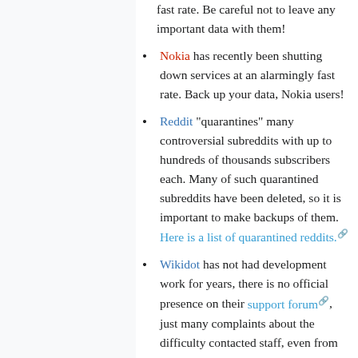fast rate. Be careful not to leave any important data with them!
Nokia has recently been shutting down services at an alarmingly fast rate. Back up your data, Nokia users!
Reddit "quarantines" many controversial subreddits with up to hundreds of thousands subscribers each. Many of such quarantined subreddits have been deleted, so it is important to make backups of them. Here is a list of quarantined reddits.
Wikidot has not had development work for years, there is no official presence on their support forum, just many complaints about the difficulty contacted staff, even from those with paid accounts. Backup and wiki conversion tools are poor,